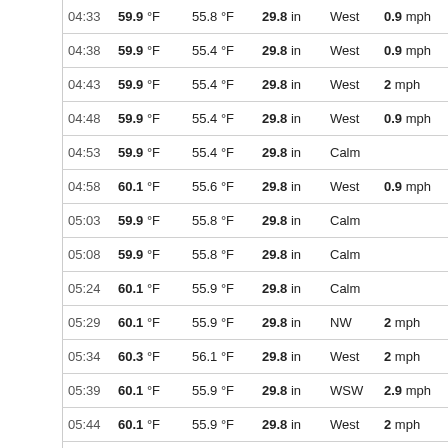| Time | Temp | Dew Point | Pressure | Wind Dir | Wind Speed |
| --- | --- | --- | --- | --- | --- |
| 04:33 | 59.9 °F | 55.8 °F | 29.8 in | West | 0.9 mph |
| 04:38 | 59.9 °F | 55.4 °F | 29.8 in | West | 0.9 mph |
| 04:43 | 59.9 °F | 55.4 °F | 29.8 in | West | 2 mph |
| 04:48 | 59.9 °F | 55.4 °F | 29.8 in | West | 0.9 mph |
| 04:53 | 59.9 °F | 55.4 °F | 29.8 in | Calm |  |
| 04:58 | 60.1 °F | 55.6 °F | 29.8 in | West | 0.9 mph |
| 05:03 | 59.9 °F | 55.8 °F | 29.8 in | Calm |  |
| 05:08 | 59.9 °F | 55.8 °F | 29.8 in | Calm |  |
| 05:24 | 60.1 °F | 55.9 °F | 29.8 in | Calm |  |
| 05:29 | 60.1 °F | 55.9 °F | 29.8 in | NW | 2 mph |
| 05:34 | 60.3 °F | 56.1 °F | 29.8 in | West | 2 mph |
| 05:39 | 60.1 °F | 55.9 °F | 29.8 in | WSW | 2.9 mph |
| 05:44 | 60.1 °F | 55.9 °F | 29.8 in | West | 2 mph |
| 05:49 | 60.1 °F | 55.9 °F | 29.8 in | West | 2 mph |